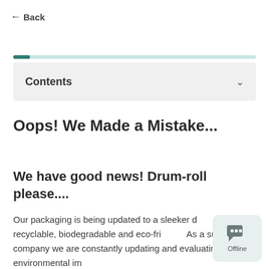← Back
Contents
Oops! We Made a Mistake...
We have good news! Drum-roll please....
Our packaging is being updated to a sleeker design that is recyclable, biodegradable and eco-friendly. As a sustainable company we are constantly updating and evaluating our environmental impact to minimise our carbon release emissions and help keep our planet clean.